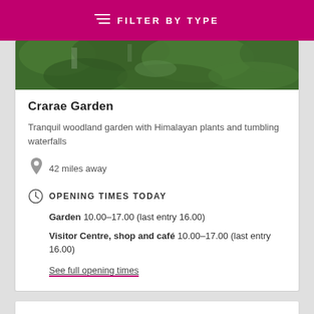FILTER BY TYPE
[Figure (photo): Aerial/top-down view of a woodland garden with green foliage and paths]
Crarae Garden
Tranquil woodland garden with Himalayan plants and tumbling waterfalls
42 miles away
OPENING TIMES TODAY
Garden  10.00–17.00 (last entry 16.00)
Visitor Centre, shop and café  10.00–17.00 (last entry 16.00)
See full opening times